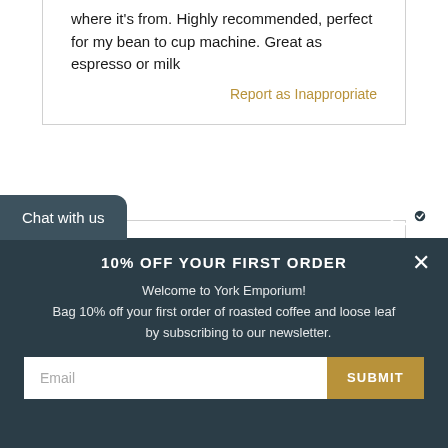where it's from. Highly recommended, perfect for my bean to cup machine. Great as espresso or milk
Report as Inappropriate
[Figure (other): 5 gold stars rating]
EXCELLENT ESPRESSO!
Karl Roberts on May 08, 2021
For the money this bean has my vote of a great home
10% OFF YOUR FIRST ORDER
Welcome to York Emporium!
Bag 10% off your first order of roasted coffee and loose leaf by subscribing to our newsletter.
Chat with us
Email
SUBMIT